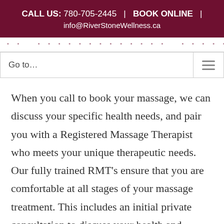CALL US: 780-705-2445  |  BOOK ONLINE  |  info@RiverStoneWellness.ca
[Figure (screenshot): Partially visible navigation header text in dark red]
[Figure (screenshot): Navigation bar with 'Go to...' dropdown and hamburger menu icon]
When you call to book your massage, we can discuss your specific health needs, and pair you with a Registered Massage Therapist who meets your unique therapeutic needs. Our fully trained RMT's ensure that you are comfortable at all stages of your massage treatment. This includes an initial private consultation to discuss your health and massage therapy needs. After your massage,